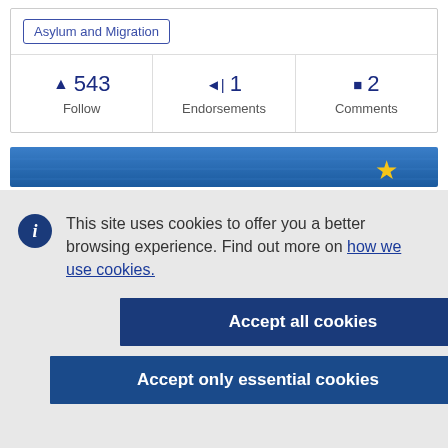| Asylum and Migration |
| ▲ 543
Follow | ◄| 1
Endorsements | ■ 2
Comments |
[Figure (screenshot): EU institution website blue banner with yellow star]
This site uses cookies to offer you a better browsing experience. Find out more on how we use cookies.
Accept all cookies
Accept only essential cookies